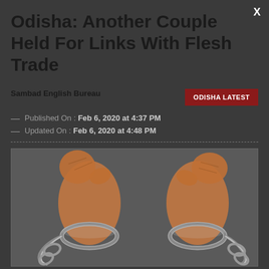Odisha: Another Couple Held For Links With Flesh Trade
Sambad English Bureau
ODISHA LATEST
Published On : Feb 6, 2020 at 4:37 PM
Updated On : Feb 6, 2020 at 4:48 PM
[Figure (illustration): Illustration of two hands in handcuffs/shackles, breaking free, drawn in sketch style on a dark grey background]